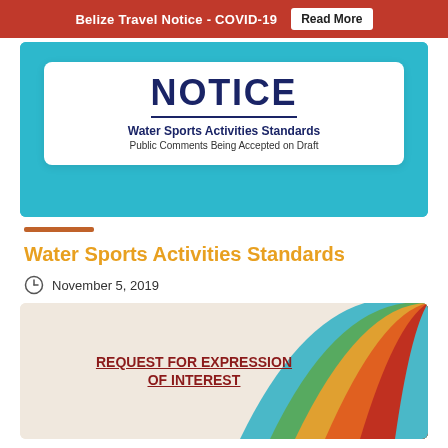Belize Travel Notice - COVID-19  Read More
[Figure (photo): Notice card on teal background reading NOTICE / Water Sports Activities Standards / Public Comments Being Accepted on Draft]
Water Sports Activities Standards
November 5, 2019
[Figure (photo): Colorful striped curved background with text REQUEST FOR EXPRESSION OF INTEREST in dark red underlined text]